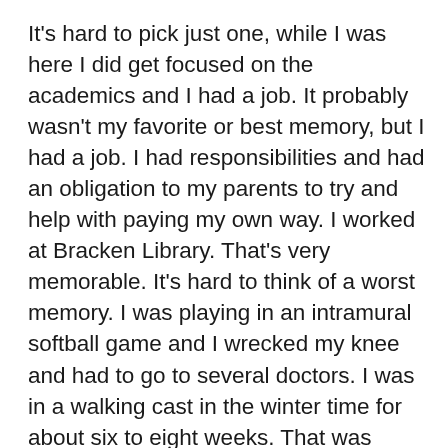It's hard to pick just one, while I was here I did get focused on the academics and I had a job. It probably wasn't my favorite or best memory, but I had a job. I had responsibilities and had an obligation to my parents to try and help with paying my own way. I worked at Bracken Library. That's very memorable. It's hard to think of a worst memory. I was playing in an intramural softball game and I wrecked my knee and had to go to several doctors. I was in a walking cast in the winter time for about six to eight weeks. That was probably a moment where you can get down and get depressed with yourself. You're slipping on the ice and working on crutches. That was another memorable time. I honestly loved it here, I had a great time here. It's hard to pin a worst experience on anything here. I had really great instructors, I had really great friends, I had a good social and support network. I think every student needs that if they have a better...